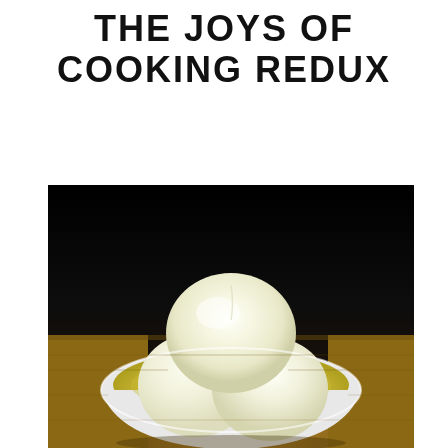THE JOYS OF COOKING REDUX
[Figure (photo): Three scoops of pale yellow/white ice cream in a round white bowl with a yellow interior, placed on a wooden surface against a dark background.]